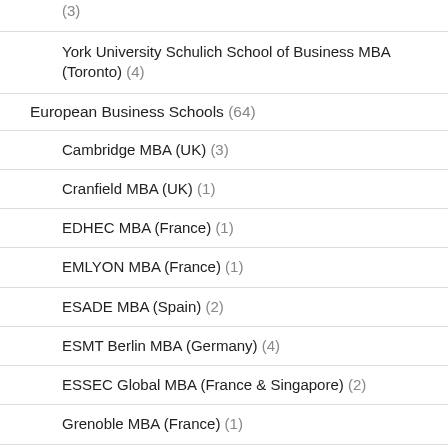(3)
York University Schulich School of Business MBA (Toronto) (4)
European Business Schools (64)
Cambridge MBA (UK) (3)
Cranfield MBA (UK) (1)
EDHEC MBA (France) (1)
EMLYON MBA (France) (1)
ESADE MBA (Spain) (2)
ESMT Berlin MBA (Germany) (4)
ESSEC Global MBA (France & Singapore) (2)
Grenoble MBA (France) (1)
HEC MBA (France) (2)
IE MBA (Spain) (7)
IESE MBA (Spain) (6)